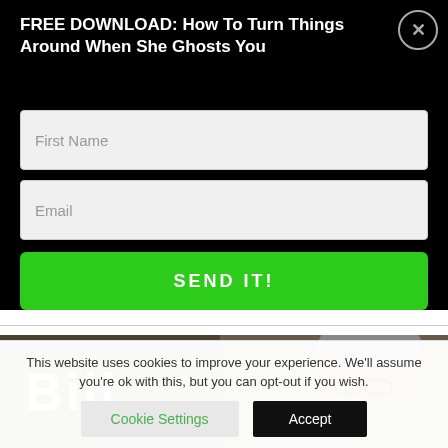FREE DOWNLOAD: How To Turn Things Around When She Ghosts You
First Name
Email
SEND IT!
[Figure (photo): Partial photo of a man with gray hair and glasses, with white text 'Bill' overlaid on the left side of the image]
This website uses cookies to improve your experience. We'll assume you're ok with this, but you can opt-out if you wish.
Cookie Settings
Accept